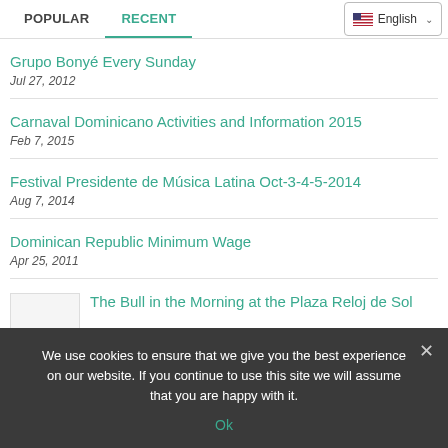POPULAR | RECENT | English
Grupo Bonyé Every Sunday
Jul 27, 2012
Carnaval Dominicano Activities and Information 2015
Feb 7, 2015
Festival Presidente de Música Latina Oct-3-4-5-2014
Aug 7, 2014
Dominican Republic Minimum Wage
Apr 25, 2011
The Bull in the Morning at the Plaza Reloj de Sol
We use cookies to ensure that we give you the best experience on our website. If you continue to use this site we will assume that you are happy with it.
Ok